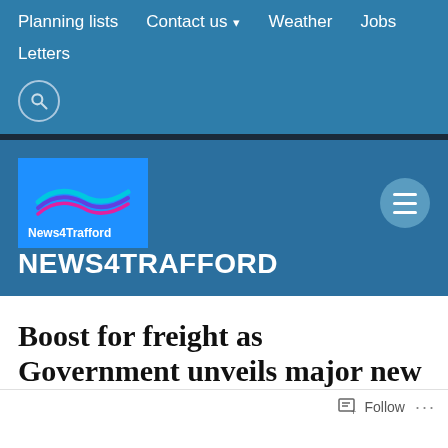Planning lists   Contact us ▾   Weather   Jobs   Letters
[Figure (logo): News4Trafford logo — blue square with wavy coloured lines and white text 'News4Trafford']
NEWS4TRAFFORD
Boost for freight as Government unveils major new plan to bolster supply chains